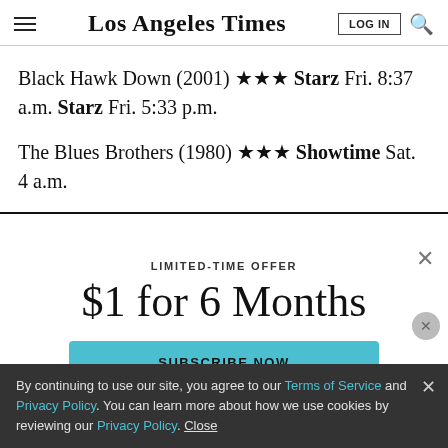Los Angeles Times
Black Hawk Down (2001) ★★★ Starz Fri. 8:37 a.m. Starz Fri. 5:33 p.m.
The Blues Brothers (1980) ★★★ Showtime Sat. 4 a.m.
LIMITED-TIME OFFER
$1 for 6 Months
SUBSCRIBE NOW
By continuing to use our site, you agree to our Terms of Service and Privacy Policy. You can learn more about how we use cookies by reviewing our Privacy Policy. Close